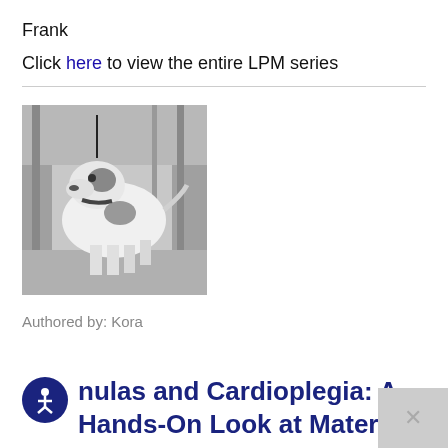Frank
Click here to view the entire LPM series
[Figure (photo): Black and white photograph of a dog (Frank) standing outdoors among trees]
Authored by: Kora
nulas and Cardioplegia: A Hands-On Look at Materials